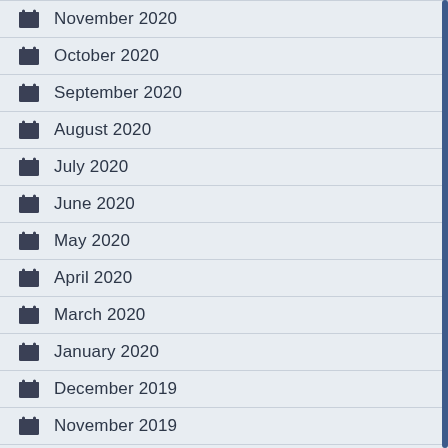November 2020
October 2020
September 2020
August 2020
July 2020
June 2020
May 2020
April 2020
March 2020
January 2020
December 2019
November 2019
August 2019